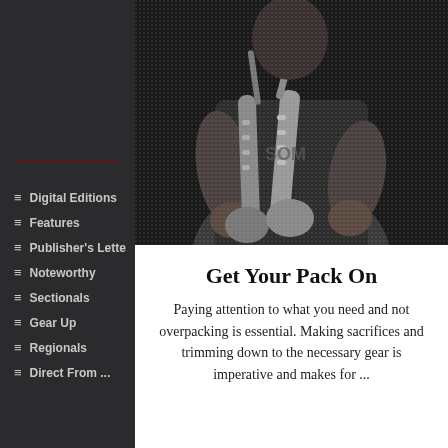Digital Editions
Features
Publisher's Lette
Noteworthy
Sectionals
Gear Up
Regionals
Direct From ...
[Figure (photo): Black and white photo of a musician playing saxophone, shown from chest down, hands on the instrument keys]
Get Your Pack On
Paying attention to what you need and not overpacking is essential. Making sacrifices and trimming down to the necessary gear is imperative and makes for ...